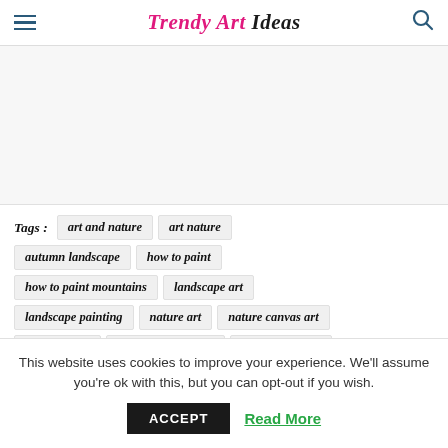Trendy Art Ideas
[Figure (other): Advertisement or blank area placeholder]
Tags : art and nature  art nature  autumn landscape  how to paint  how to paint mountains  landscape art  landscape painting  nature art  nature canvas art  nature in art  nature oil painting  nature painting
This website uses cookies to improve your experience. We'll assume you're ok with this, but you can opt-out if you wish. ACCEPT  Read More